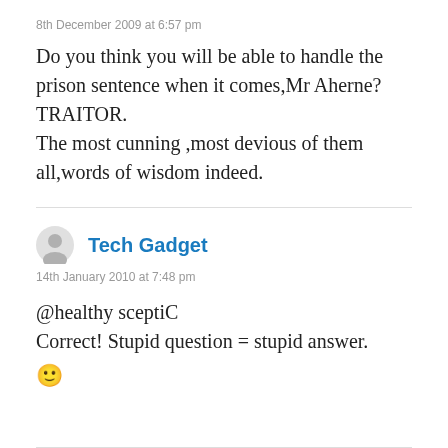8th December 2009 at 6:57 pm
Do you think you will be able to handle the prison sentence when it comes,Mr Aherne? TRAITOR.
The most cunning ,most devious of them all,words of wisdom indeed.
Tech Gadget
14th January 2010 at 7:48 pm
@healthy sceptiC
Correct! Stupid question = stupid answer.
🙂